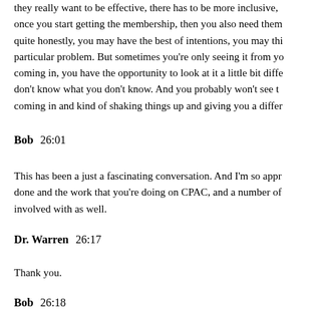they really want to be effective, there has to be more inclusive, once you start getting the membership, then you also need them quite honestly, you may have the best of intentions, you may thi particular problem. But sometimes you're only seeing it from yo coming in, you have the opportunity to look at it a little bit diffe don't know what you don't know. And you probably won't see t coming in and kind of shaking things up and giving you a differ
Bob  26:01
This has been a just a fascinating conversation. And I'm so appr done and the work that you're doing on CPAC, and a number of involved with as well.
Dr. Warren  26:17
Thank you.
Bob  26:18